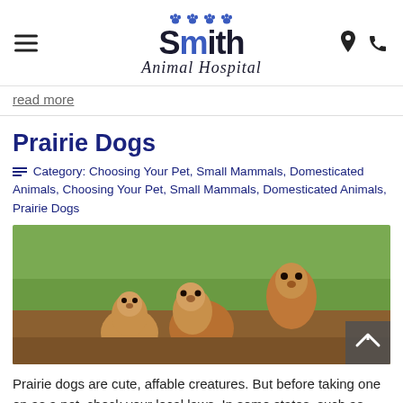Smith Animal Hospital
read more
Prairie Dogs
Category: Choosing Your Pet, Small Mammals, Domesticated Animals, Choosing Your Pet, Small Mammals, Domesticated Animals, Prairie Dogs
[Figure (photo): Three prairie dogs emerging from a burrow in a grassy field]
Prairie dogs are cute, affable creatures. But before taking one on as a pet, check your local laws. In some states, such as Colorado, it's